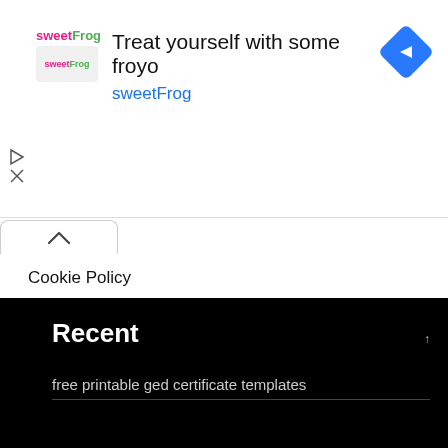[Figure (advertisement): SweetFrog frozen yogurt advertisement banner with logo, headline 'Treat yourself with some froyo', brand name 'sweetFrog', and a blue diamond navigation icon]
Cookie Policy
Disclaimer
DMCA
Privacy Policy
Report Site Issue
Terms of Use
Recent
free printable ged certificate templates